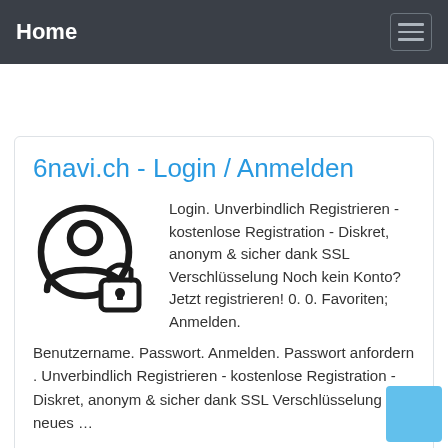Home
6navi.ch - Login / Anmelden
[Figure (illustration): User profile icon with a padlock overlay, shown in black outline style]
Login. Unverbindlich Registrieren - kostenlose Registration - Diskret, anonym & sicher dank SSL Verschlüsselung Noch kein Konto? Jetzt registrieren! 0. 0. Favoriten; Anmelden. Benutzername. Passwort. Anmelden. Passwort anfordern . Unverbindlich Registrieren - kostenlose Registration - Diskret, anonym & sicher dank SSL Verschlüsselung neues …
Preview